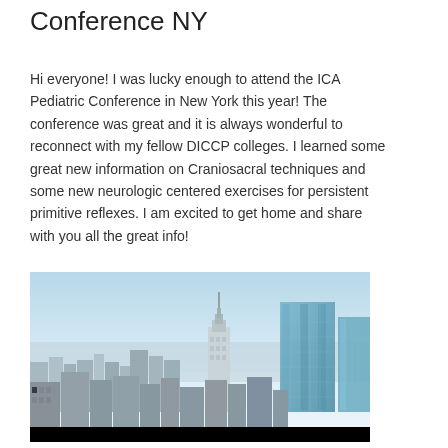Conference NY
Hi everyone!  I was lucky enough to attend the ICA Pediatric Conference in New York this year!  The conference was great and it is always wonderful to reconnect with my fellow DICCP colleges.  I learned some great new information on Craniosacral techniques and some new neurologic centered exercises for persistent primitive reflexes.  I am excited to get home and share with you all the great info!
[Figure (photo): Aerial view of the New York City skyline featuring the Empire State Building and other skyscrapers under a clear sky.]